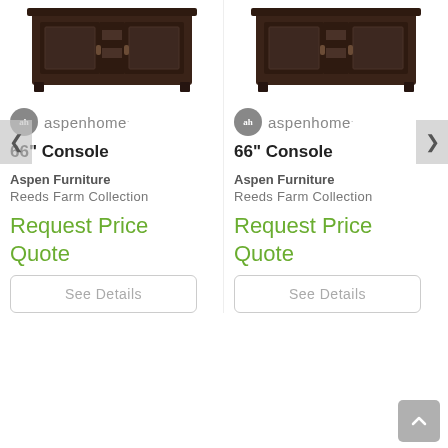[Figure (photo): Dark brown wooden 66 inch console furniture piece, left product]
[Figure (logo): aspenhome brand logo left]
66" Console
Aspen Furniture
Reeds Farm Collection
Request Price Quote
See Details
[Figure (photo): Dark brown wooden 66 inch console furniture piece, right product]
[Figure (logo): aspenhome brand logo right]
66" Console
Aspen Furniture
Reeds Farm Collection
Request Price Quote
See Details